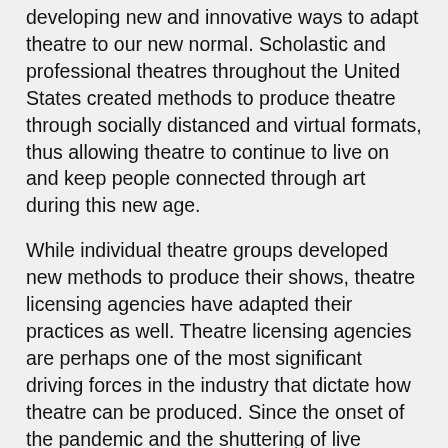developing new and innovative ways to adapt theatre to our new normal. Scholastic and professional theatres throughout the United States created methods to produce theatre through socially distanced and virtual formats, thus allowing theatre to continue to live on and keep people connected through art during this new age.
While individual theatre groups developed new methods to produce their shows, theatre licensing agencies have adapted their practices as well. Theatre licensing agencies are perhaps one of the most significant driving forces in the industry that dictate how theatre can be produced. Since the onset of the pandemic and the shuttering of live performances, agencies such as Music Theatre International (MTI) and Theatrical Rights Worldwide (TRW) have provided theatre companies with cutting edge new tools to produce theatre in socially distant and safe manners. Through a hosting partnership between ShowTix4U, MTI and Broadway Media, MTI now provides licensing and a comprehensive platform for theatres to capture and stream live musicals and performances, sell tickets to streaming events, and have royalties paid automatically through one unified online platform. MTI has also...